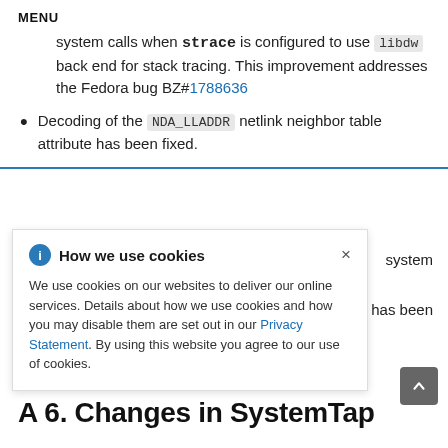MENU
system calls when strace is configured to use libdw back end for stack tracing. This improvement addresses the Fedora bug BZ#1788636
Decoding of the NDA_LLADDR netlink neighbor table attribute has been fixed.
system
has been
[Figure (other): Cookie consent popup with title 'How we use cookies', close button (×), and body text: 'We use cookies on our websites to deliver our online services. Details about how we use cookies and how you may disable them are set out in our Privacy Statement. By using this website you agree to our use of cookies.']
A 6. Changes in SystemTap